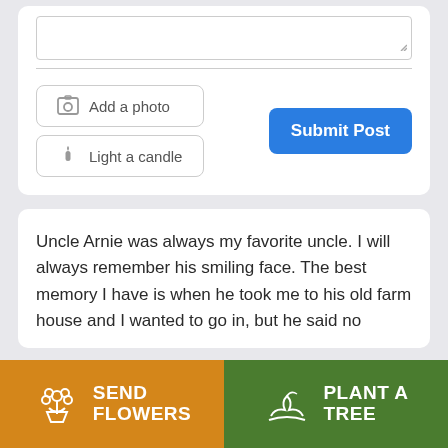[Figure (screenshot): UI form card with textarea, input line, Add a photo button, Light a candle button, and Submit Post button]
Uncle Arnie was always my favorite uncle. I will always remember his smiling face. The best memory I have is when he took me to his old farm house and I wanted to go in, but he said no
[Figure (infographic): SEND FLOWERS button (orange) and PLANT A TREE button (green) action bar at the bottom]